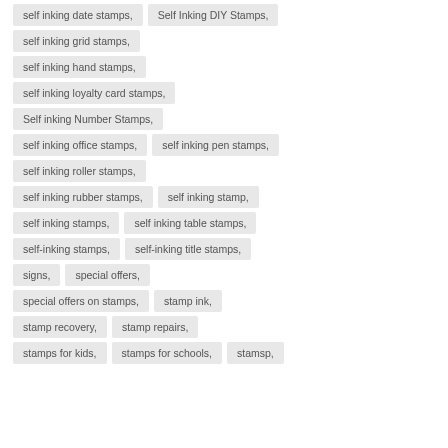self inking date stamps,
Self Inking DIY Stamps,
self inking grid stamps,
self inking hand stamps,
self inking loyalty card stamps,
Self inking Number Stamps,
self inking office stamps,
self inking pen stamps,
self inking roller stamps,
self inking rubber stamps,
self inking stamp,
self inking stamps,
self inking table stamps,
self-inking stamps,
self-inking title stamps,
signs,
special offers,
special offers on stamps,
stamp ink,
stamp recovery,
stamp repairs,
stamps for kids,
stamps for schools,
stamsp,